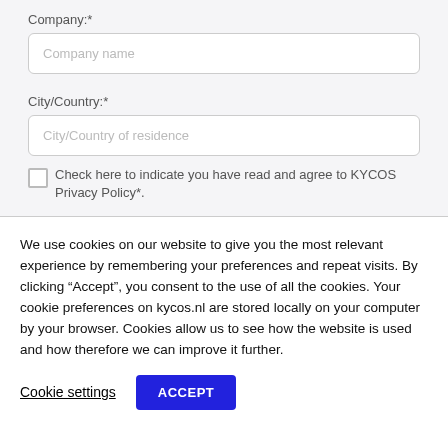Company:*
Company name
City/Country:*
City/Country of residence
Check here to indicate you have read and agree to KYCOS Privacy Policy*.
We use cookies on our website to give you the most relevant experience by remembering your preferences and repeat visits. By clicking “Accept”, you consent to the use of all the cookies. Your cookie preferences on kycos.nl are stored locally on your computer by your browser. Cookies allow us to see how the website is used and how therefore we can improve it further.
Cookie settings
ACCEPT